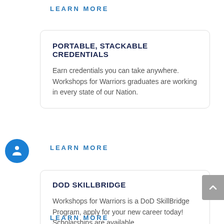LEARN MORE
PORTABLE, STACKABLE CREDENTIALS
Earn credentials you can take anywhere. Workshops for Warriors graduates are working in every state of our Nation.
LEARN MORE
DOD SKILLBRIDGE
Workshops for Warriors is a DoD SkillBridge Program, apply for your new career today! Scholarships are available.
LEARN MORE